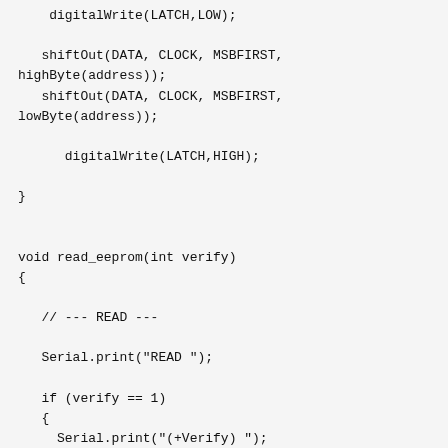digitalWrite(LATCH,LOW);

   shiftOut(DATA, CLOCK, MSBFIRST,
highByte(address));
   shiftOut(DATA, CLOCK, MSBFIRST,
lowByte(address));

      digitalWrite(LATCH,HIGH);

}


void read_eeprom(int verify)
{

   // --- READ ---

   Serial.print("READ ");

   if (verify == 1)
   {
     Serial.print("(+Verify) ");
   }

   Serial.print("from EEPROM:");
   Serial.println("");

   int mismatch = 0;
   addr=0;         // begin reading at this address

   datalines_input();

   digitalWrite(WRITE_ENABLE, HIGH); //keep WE high